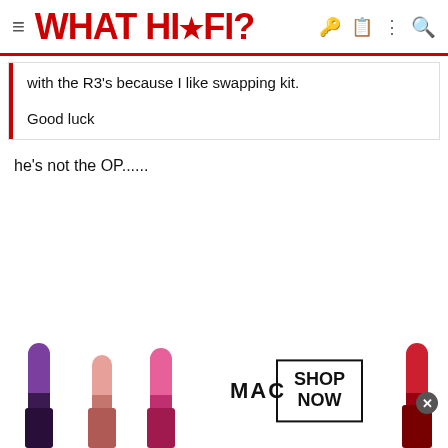WHAT HI-FI?
with the R3's because I like swapping kit.

Good luck
he's not the OP......
[Figure (photo): MAC cosmetics advertisement banner showing colorful lipsticks on the left and a 'SHOP NOW' button with MAC logo in the center-right area.]